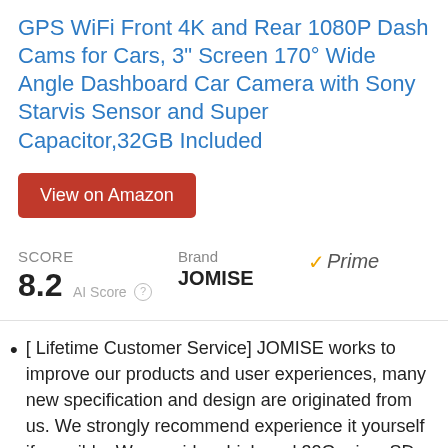GPS WiFi Front 4K and Rear 1080P Dash Cams for Cars, 3" Screen 170° Wide Angle Dashboard Car Camera with Sony Starvis Sensor and Super Capacitor,32GB Included
View on Amazon
SCORE 8.2 AI Score | Brand JOMISE | Prime
[ Lifetime Customer Service] JOMISE works to improve our products and user experiences, many new specification and design are originated from us. We strongly recommend experience it yourself if possible. We provide a high-end 32G micro SD card comes with product, a lifetime warranty and 1-year free replacement for the product. If you have any